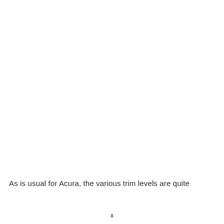As is usual for Acura, the various trim levels are quite
x